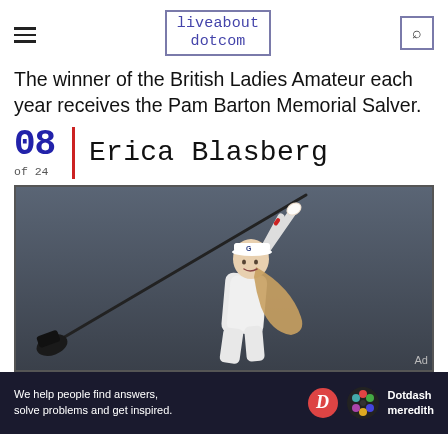liveabout dotcom
The winner of the British Ladies Amateur each year receives the Pam Barton Memorial Salver.
08 of 24 | Erica Blasberg
[Figure (photo): Erica Blasberg female golfer mid-swing with driver, wearing white visor and white outfit, grey background]
We help people find answers, solve problems and get inspired. Dotdash meredith